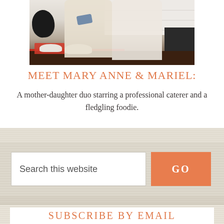[Figure (photo): Two women (mother and daughter) standing in a kitchen with white subway tile backsplash, bowls of fruit on dark counter, wearing cream-colored sweaters]
MEET MARY ANNE & MARIEL:
A mother-daughter duo starring a professional caterer and a fledgling foodie.
Search this website
SUBSCRIBE BY EMAIL